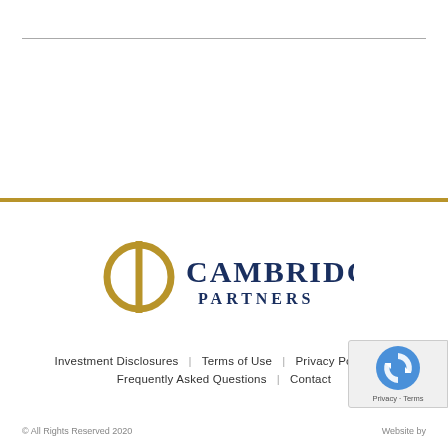[Figure (logo): Cambridge Partners logo with Greek phi symbol in gold and 'CAMBRIDGE PARTNERS' text in navy blue]
Investment Disclosures | Terms of Use | Privacy Policy |
Frequently Asked Questions | Contact
© All Rights Reserved 2020    Website by [...]